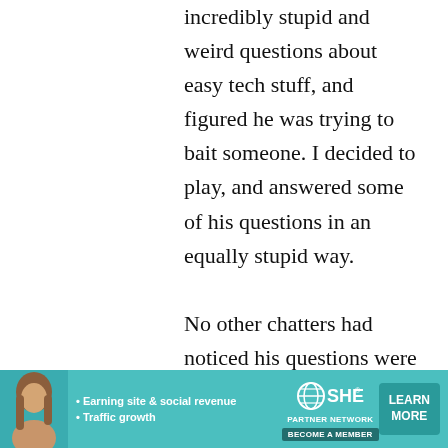incredibly stupid and weird questions about easy tech stuff, and figured he was trying to bait someone. I decided to play, and answered some of his questions in an equally stupid way.

No other chatters had noticed his questions were weird, but they
[Figure (infographic): Advertisement banner for SHE Partner Network with teal background, woman's photo, bullet points about earning site & social revenue and traffic growth, SHE logo, and a LEARN MORE button with BECOME A MEMBER tag.]